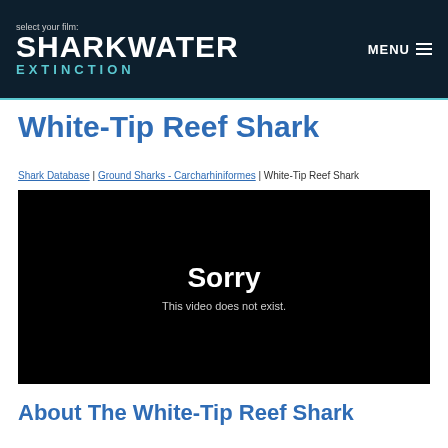select your film: SHARKWATER EXTINCTION | MENU
White-Tip Reef Shark
Shark Database | Ground Sharks - Carcharhiniformes | White-Tip Reef Shark
[Figure (screenshot): Black video player area showing error message: 'Sorry This video does not exist.']
About The White-Tip Reef Shark